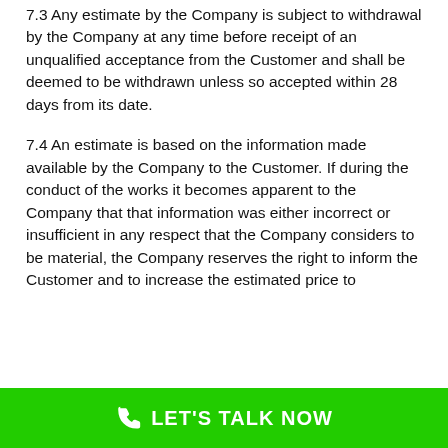7.3 Any estimate by the Company is subject to withdrawal by the Company at any time before receipt of an unqualified acceptance from the Customer and shall be deemed to be withdrawn unless so accepted within 28 days from its date.
7.4 An estimate is based on the information made available by the Company to the Customer. If during the conduct of the works it becomes apparent to the Company that that information was either incorrect or insufficient in any respect that the Company considers to be material, the Company reserves the right to inform the Customer and to increase the estimated price to
LET'S TALK NOW